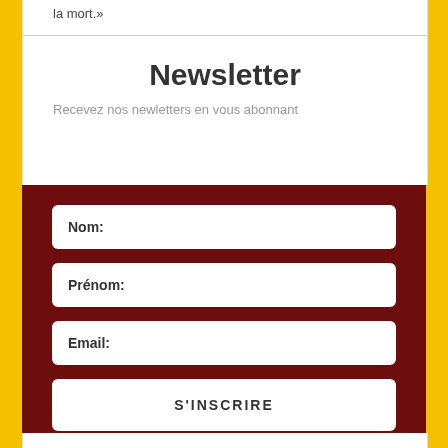la mort.»
Newsletter
Recevez nos newletters en vous abonnant
Nom:
Prénom:
Email:
S'INSCRIRE